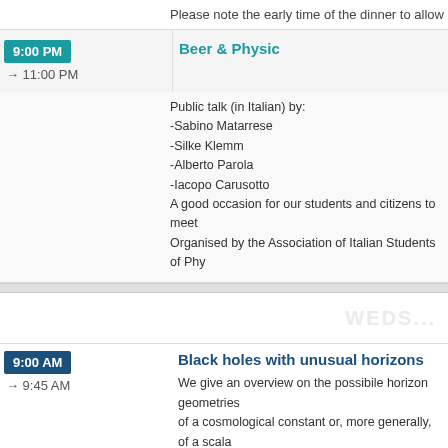Please note the early time of the dinner to allow people t
9:00 PM → 11:00 PM   Beer & Physic
Public talk (in Italian) by:
-Sabino Matarrese
-Silke Klemm
-Alberto Parola
-Iacopo Carusotto
A good occasion for our students and citizens to meet 
Organised by the Association of Italian Students of Phy
9:00 AM → 9:45 AM   Black holes with unusual horizons
We give an overview on the possibile horizon geometries of a cosmological constant or, more generally, of a scala known spherical, hyperbolic or flat cases. In particular, th topologically spheres with two punctures. In five dimens space.
Speaker: Ms Dietmar Silke Klemm (Università degli Studi d